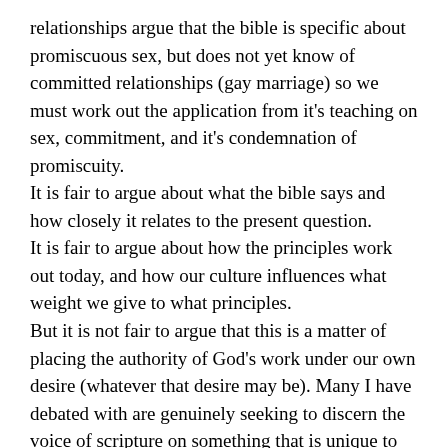relationships argue that the bible is specific about promiscuous sex, but does not yet know of committed relationships (gay marriage) so we must work out the application from it's teaching on sex, commitment, and it's condemnation of promiscuity.
It is fair to argue about what the bible says and how closely it relates to the present question.
It is fair to argue about how the principles work out today, and how our culture influences what weight we give to what principles.
But it is not fair to argue that this is a matter of placing the authority of God's work under our own desire (whatever that desire may be). Many I have debated with are genuinely seeking to discern the voice of scripture on something that is unique to our time.
I say this not to argue for either view, but from listening carefully to both.